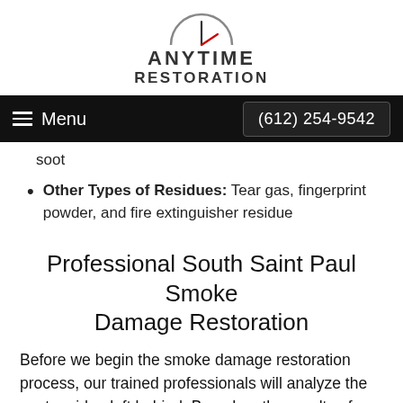[Figure (logo): Anytime Restoration logo with clock graphic above stylized text reading ANYTIME RESTORATION]
Menu   (612) 254-9542
soot
Other Types of Residues: Tear gas, fingerprint powder, and fire extinguisher residue
Professional South Saint Paul Smoke Damage Restoration
Before we begin the smoke damage restoration process, our trained professionals will analyze the soot residue left behind. Based on the results of our analysis, Anytime Restoration will...